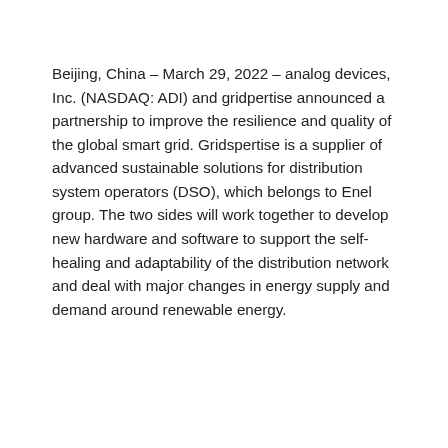Beijing, China – March 29, 2022 – analog devices, Inc. (NASDAQ: ADI) and gridpertise announced a partnership to improve the resilience and quality of the global smart grid. Gridspertise is a supplier of advanced sustainable solutions for distribution system operators (DSO), which belongs to Enel group. The two sides will work together to develop new hardware and software to support the self-healing and adaptability of the distribution network and deal with major changes in energy supply and demand around renewable energy.